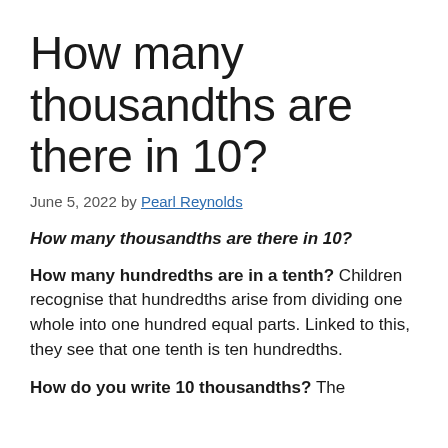How many thousandths are there in 10?
June 5, 2022 by Pearl Reynolds
How many thousandths are there in 10?
How many hundredths are in a tenth? Children recognise that hundredths arise from dividing one whole into one hundred equal parts. Linked to this, they see that one tenth is ten hundredths.
How do you write 10 thousandths? The